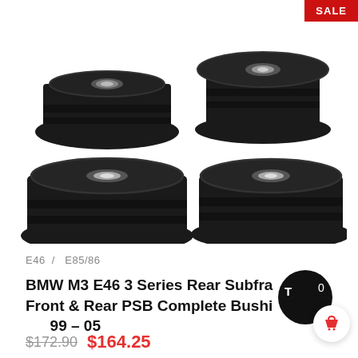[Figure (photo): Four black polyurethane subframe bushings with silver metal centers arranged in a 2x2 grid on white background. Top-right corner has a red SALE badge.]
E46  /  E85/86
BMW M3 E46 3 Series Rear Subframe Front & Rear PSB Complete Bushing Kit 99 – 05
$172.90  $164.25